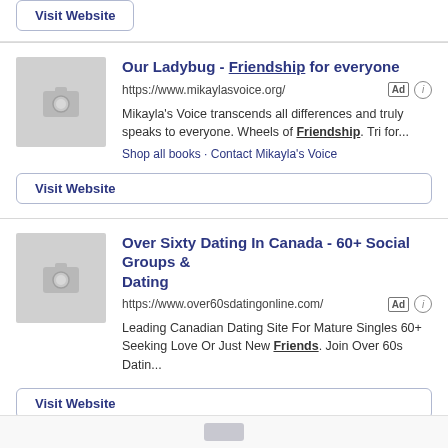[Figure (screenshot): Partial top of a search ad card with a Visit Website button visible]
Visit Website
Our Ladybug - Friendship for everyone
https://www.mikaylasvoice.org/
Mikayla's Voice transcends all differences and truly speaks to everyone. Wheels of Friendship. Tri for...
Shop all books · Contact Mikayla's Voice
Visit Website
Over Sixty Dating In Canada - 60+ Social Groups & Dating
https://www.over60sdatingonline.com/
Leading Canadian Dating Site For Mature Singles 60+ Seeking Love Or Just New Friends. Join Over 60s Datin...
Visit Website